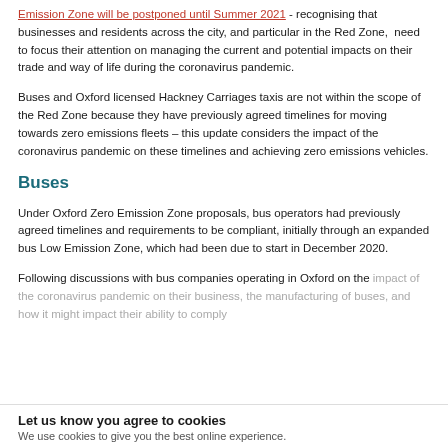Emission Zone will be postponed until Summer 2021 - recognising that businesses and residents across the city, and particular in the Red Zone, need to focus their attention on managing the current and potential impacts on their trade and way of life during the coronavirus pandemic.
Buses and Oxford licensed Hackney Carriages taxis are not within the scope of the Red Zone because they have previously agreed timelines for moving towards zero emissions fleets – this update considers the impact of the coronavirus pandemic on these timelines and achieving zero emissions vehicles.
Buses
Under Oxford Zero Emission Zone proposals, bus operators had previously agreed timelines and requirements to be compliant, initially through an expanded bus Low Emission Zone, which had been due to start in December 2020.
Following discussions with bus companies operating in Oxford on the impact of the coronavirus pandemic on their business, the manufacturing of buses, and how it might impact their ability to comply
Let us know you agree to cookies
We use cookies to give you the best online experience.